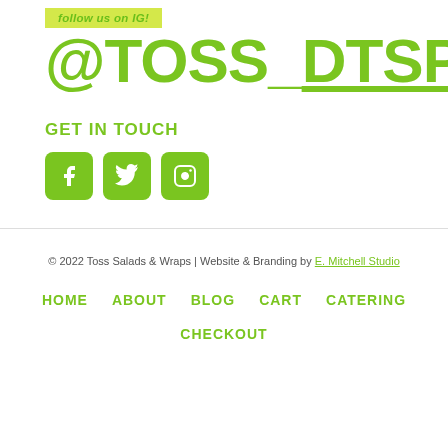follow us on IG!
@TOSS_DTSP
GET IN TOUCH
[Figure (illustration): Three social media icon buttons (Facebook, Twitter, Instagram) in green rounded squares]
© 2022 Toss Salads & Wraps | Website & Branding by E. Mitchell Studio
HOME
ABOUT
BLOG
CART
CATERING
CHECKOUT